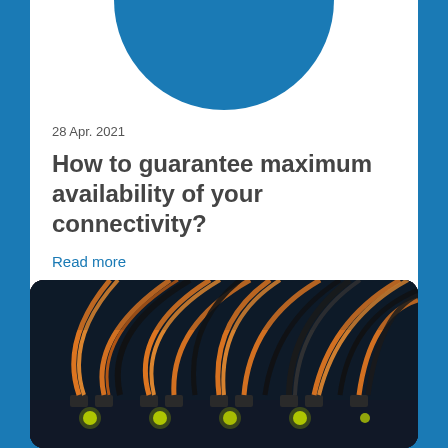[Figure (illustration): Blue circle shape at top of white card, partially cropped, representing decorative header element]
28 Apr. 2021
How to guarantee maximum availability of your connectivity?
Read more
Connected member, service update
[Figure (photo): Close-up photo of orange and black fiber optic or network cables plugged into a network switch, with glowing yellow-green LED lights visible in the background]